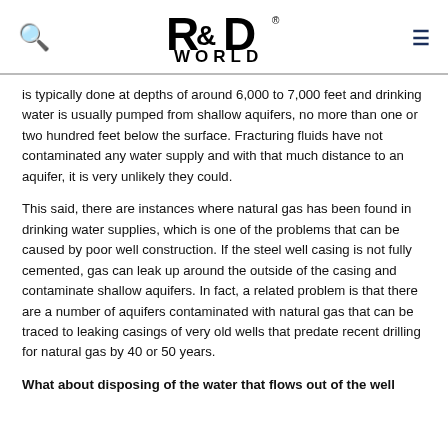R&D WORLD [logo with search and menu icons]
is typically done at depths of around 6,000 to 7,000 feet and drinking water is usually pumped from shallow aquifers, no more than one or two hundred feet below the surface. Fracturing fluids have not contaminated any water supply and with that much distance to an aquifer, it is very unlikely they could.
This said, there are instances where natural gas has been found in drinking water supplies, which is one of the problems that can be caused by poor well construction. If the steel well casing is not fully cemented, gas can leak up around the outside of the casing and contaminate shallow aquifers. In fact, a related problem is that there are a number of aquifers contaminated with natural gas that can be traced to leaking casings of very old wells that predate recent drilling for natural gas by 40 or 50 years.
What about disposing of the water that flows out of the well